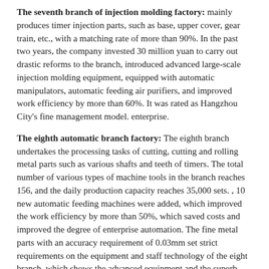The seventh branch of injection molding factory: mainly produces timer injection parts, such as base, upper cover, gear train, etc., with a matching rate of more than 90%. In the past two years, the company invested 30 million yuan to carry out drastic reforms to the branch, introduced advanced large-scale injection molding equipment, equipped with automatic manipulators, automatic feeding air purifiers, and improved work efficiency by more than 60%. It was rated as Hangzhou City's fine management model. enterprise.
The eighth automatic branch factory: The eighth branch undertakes the processing tasks of cutting, cutting and rolling metal parts such as various shafts and teeth of timers. The total number of various types of machine tools in the branch reaches 156, and the daily production capacity reaches 35,000 sets. , 10 new automatic feeding machines were added, which improved the work efficiency by more than 50%, which saved costs and improved the degree of enterprise automation. The fine metal parts with an accuracy requirement of 0.03mm set strict requirements on the equipment and staff technology of the eight branch, which shows the advanced equipment and the superb technology of the staff.
The ninth branch of the final assembly plant is the product of a strong alliance with Japan (Shanghai) Zhongchuan Electrochemical. It was formally established in July 2014. Mainly responsible for the production of KG 8 tractors, drainage pumps (exported to Brazil), LG dual-axis timers (supported by Samsung) and other products. It is the company's further development of independent manufacturing advantages, expansion of domestic and overseas markets, and new